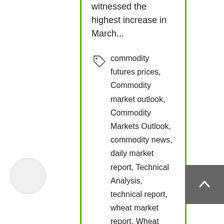traded commodities, witnessed the highest increase in March...
commodity futures prices, Commodity market outlook, Commodity Markets Outlook, commodity news, daily market report, Technical Analysis, technical report, wheat market report, Wheat Price, wheat price technical analysis
Market Outlook, Market Outlook Commodities, News
Read More →